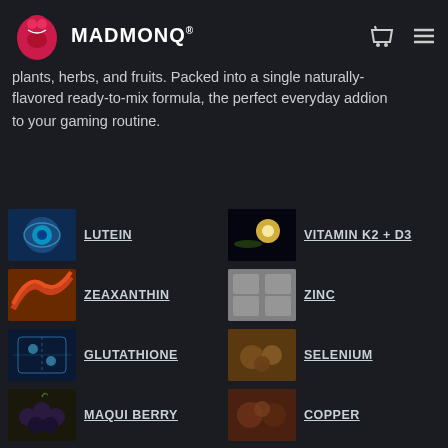plants, herbs, and fruits. Packed into a single naturally-flavored ready-to-mix formula, the perfect everyday addition to your gaming routine.
LUTEIN
ZEAXANTHIN
GLUTATHIONE
MAQUI BERRY
VITAMIN A
VITAMIN E
VITAMIN C
VITAMIN B12
VITAMIN K2 + D3
ZINC
SELENIUM
COPPER
L-METHIONINE + L-CYSTINE
MILK THISTLE
PINE BARK
L-CARNOSINE